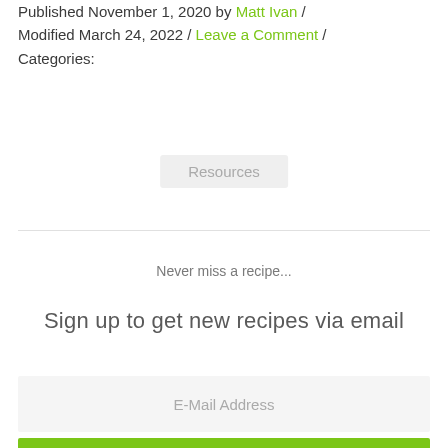Published November 1, 2020 by Matt Ivan / Modified March 24, 2022 / Leave a Comment / Categories:
Resources
Never miss a recipe...
Sign up to get new recipes via email
E-Mail Address
GO